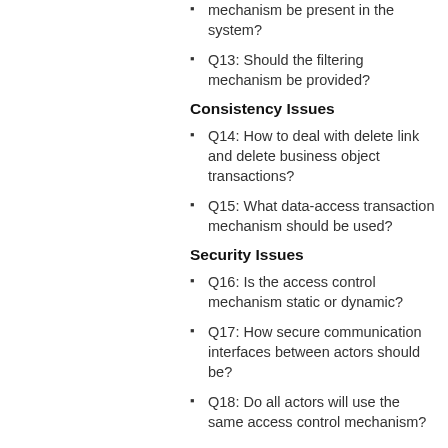mechanism be present in the system?
Q13: Should the filtering mechanism be provided?
Consistency Issues
Q14: How to deal with delete link and delete business object transactions?
Q15: What data-access transaction mechanism should be used?
Security Issues
Q16: Is the access control mechanism static or dynamic?
Q17: How secure communication interfaces between actors should be?
Q18: Do all actors will use the same access control mechanism?